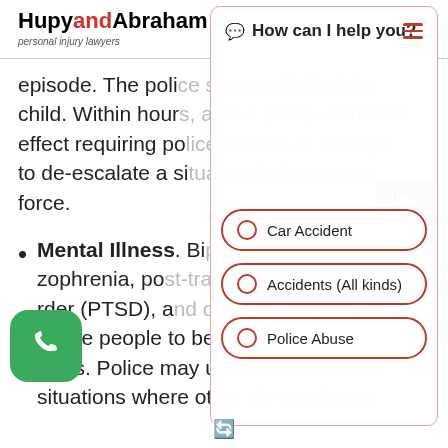HupyandAbraham s.c. personal injury lawyers
episode. The police shot and killed the child. Within hours, a new policy went into effect requiring police officers to attempt to de-escalate a situation before using force.
Mental Illness. Bipolar disorder, schizophrenia, post-traumatic stress disorder (PTSD), and other conditions can cause people to behave in unpredictable ways. Police may use force to control situations where other de-escalation
[Figure (screenshot): Chat widget overlay with header 'How can I help you?' and three radio button options: Car Accident, Accidents (All kinds), Police Abuse. Also shows a video play button and green phone call button.]